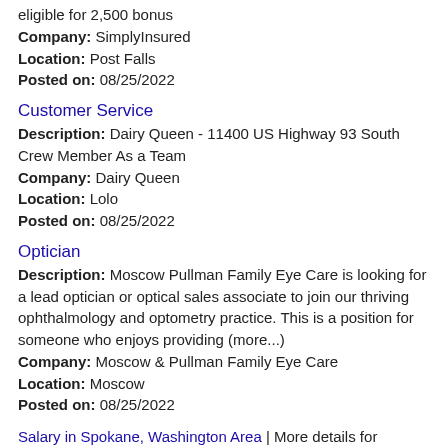eligible for 2,500 bonus
Company: SimplyInsured
Location: Post Falls
Posted on: 08/25/2022
Customer Service
Description: Dairy Queen - 11400 US Highway 93 South Crew Member As a Team
Company: Dairy Queen
Location: Lolo
Posted on: 08/25/2022
Optician
Description: Moscow Pullman Family Eye Care is looking for a lead optician or optical sales associate to join our thriving ophthalmology and optometry practice. This is a position for someone who enjoys providing (more...)
Company: Moscow & Pullman Family Eye Care
Location: Moscow
Posted on: 08/25/2022
Salary in Spokane, Washington Area | More details for Spokane, Washington Jobs |Salary